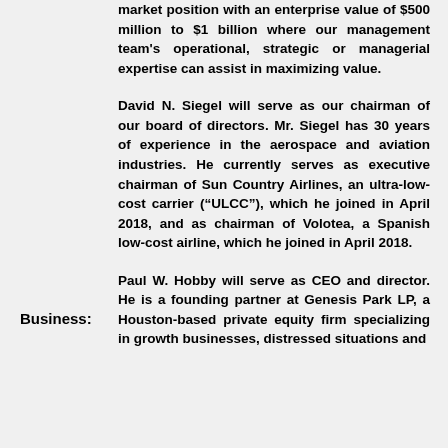market position with an enterprise value of $500 million to $1 billion where our management team's operational, strategic or managerial expertise can assist in maximizing value.
David N. Siegel will serve as our chairman of our board of directors. Mr. Siegel has 30 years of experience in the aerospace and aviation industries. He currently serves as executive chairman of Sun Country Airlines, an ultra-low-cost carrier (“ULCC”), which he joined in April 2018, and as chairman of Volotea, a Spanish low-cost airline, which he joined in April 2018.
Business:
Paul W. Hobby will serve as CEO and director. He is a founding partner at Genesis Park LP, a Houston-based private equity firm specializing in growth businesses, distressed situations and